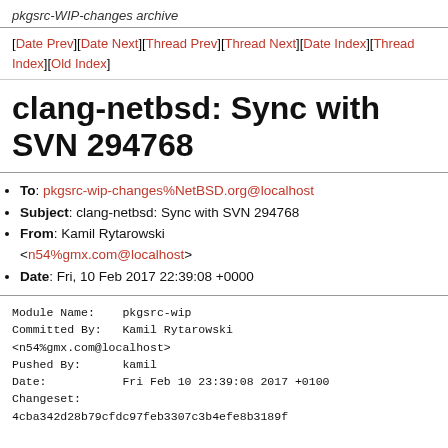pkgsrc-WIP-changes archive
[Date Prev][Date Next][Thread Prev][Thread Next][Date Index][Thread Index][Old Index]
clang-netbsd: Sync with SVN 294768
To: pkgsrc-wip-changes%NetBSD.org@localhost
Subject: clang-netbsd: Sync with SVN 294768
From: Kamil Rytarowski <n54%gmx.com@localhost>
Date: Fri, 10 Feb 2017 22:39:08 +0000
Module Name:	pkgsrc-wip
Committed By:	Kamil Rytarowski
<n54%gmx.com@localhost>
Pushed By:		kamil
Date:			Fri Feb 10 23:39:08 2017 +0100
Changeset:
4cba342d28b79cfdc97feb3307c3b4efe8b3189f